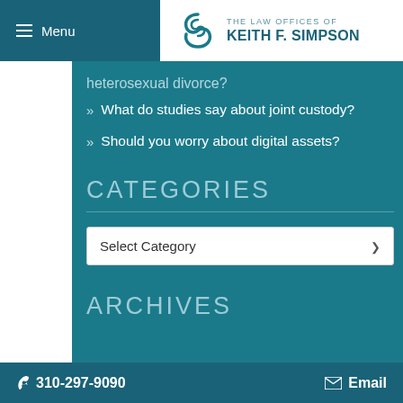Menu | THE LAW OFFICES OF KEITH F. SIMPSON
heterosexual divorce?
What do studies say about joint custody?
Should you worry about digital assets?
CATEGORIES
Select Category
ARCHIVES
310-297-9090  Email